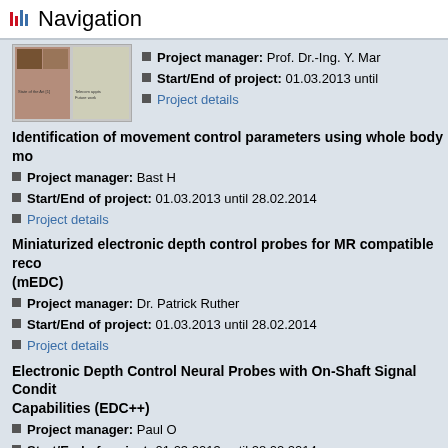Navigation
[Figure (photo): Thumbnail image of a document or poster showing tables and figures]
Project manager: Prof. Dr.-Ing. Y. Mar...
Start/End of project: 01.03.2013 until ...
Project details
Identification of movement control parameters using whole body mo...
Project manager: Bast H
Start/End of project: 01.03.2013 until 28.02.2014
Project details
Miniaturized electronic depth control probes for MR compatible reco... (mEDC)
Project manager: Dr. Patrick Ruther
Start/End of project: 01.03.2013 until 28.02.2014
Project details
Electronic Depth Control Neural Probes with On-Shaft Signal Condit... Capabilities (EDC++)
Project manager: Paul O
Start/End of project: 01.03.2013 until 28.02.2014
Project details